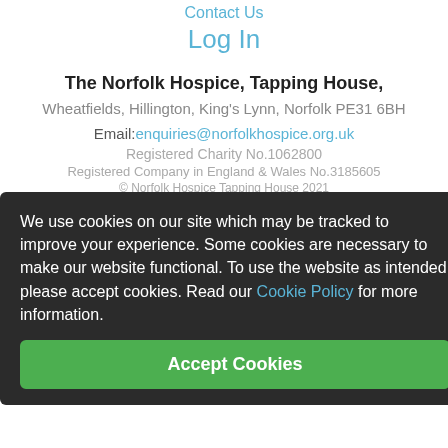Contact Us
Log In
The Norfolk Hospice, Tapping House,
Wheatfields, Hillington, King's Lynn, Norfolk PE31 6BH
Email: enquiries@norfolkhospice.org.uk
Registered Charity No.1062800
Registered Company in England & Wales No.3185605
© Norfolk Hospice Tapping House 2021
We use cookies on our site which may be tracked to improve your experience. Some cookies are necessary to make our website functional. To use the website as intended please accept cookies. Read our Cookie Policy for more information.
Accept Cookies
[Figure (logo): Fundraising Regulator circular logo with FR initials, next to text 'Registered with FUNDRAISING REGULATOR']